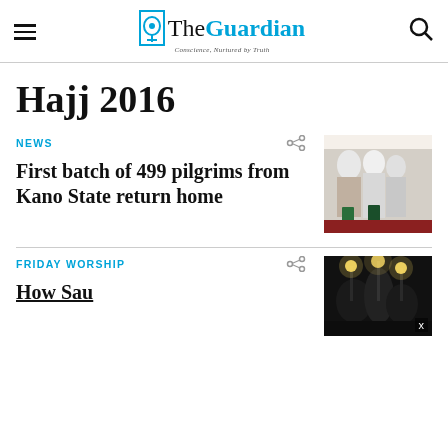The Guardian — Conscience, Nurtured by Truth
Hajj 2016
NEWS
First batch of 499 pilgrims from Kano State return home
[Figure (photo): Women in white hijabs with luggage at airport]
FRIDAY WORSHIP
[Figure (photo): Night scene with lights and structures]